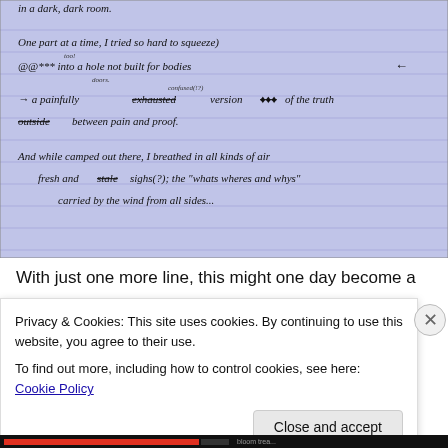[Figure (photo): Photo of handwritten notebook page on blue-lined paper showing poetry/creative writing with edits and strikethroughs. Text reads: '...in a dark, dark room. / One part at a time, I tried so hard to squeeze / @@&& [tiny: too!] into a hole not built for bodies / [tiny: doors.] / → a painfully confused(?) [strikethrough: exhausted] version [strikethrough] of the truth / [strikethrough: outside] between pain and proof. / And while camped out there, I breathed in all kinds of air / fresh and [strikethrough: stale] sighs(?); the whats wheres and whys / carried by the wind from all sides...']
With just one more line, this might one day become a
Privacy & Cookies: This site uses cookies. By continuing to use this website, you agree to their use.
To find out more, including how to control cookies, see here: Cookie Policy
Close and accept